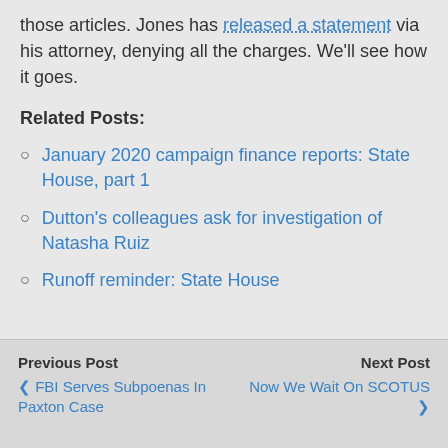those articles. Jones has released a statement via his attorney, denying all the charges. We'll see how it goes.
Related Posts:
January 2020 campaign finance reports: State House, part 1
Dutton's colleagues ask for investigation of Natasha Ruiz
Runoff reminder: State House
Previous Post ❮ FBI Serves Subpoenas In Paxton Case | Next Post Now We Wait On SCOTUS ❯